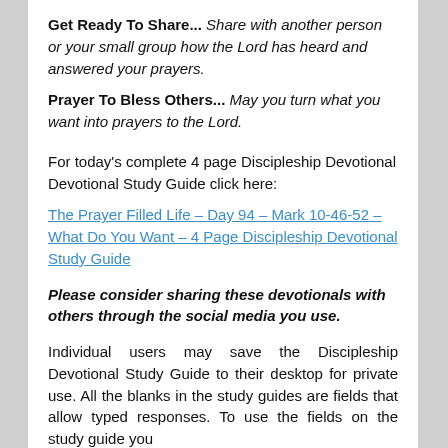Get Ready To Share... Share with another person or your small group how the Lord has heard and answered your prayers.
Prayer To Bless Others... May you turn what you want into prayers to the Lord.
For today's complete 4 page Discipleship Devotional Devotional Study Guide click here:
The Prayer Filled Life – Day 94 – Mark 10-46-52 – What Do You Want – 4 Page Discipleship Devotional Study Guide
Please consider sharing these devotionals with others through the social media you use.
Individual users may save the Discipleship Devotional Study Guide to their desktop for private use. All the blanks in the study guides are fields that allow typed responses. To use the fields on the study guide you